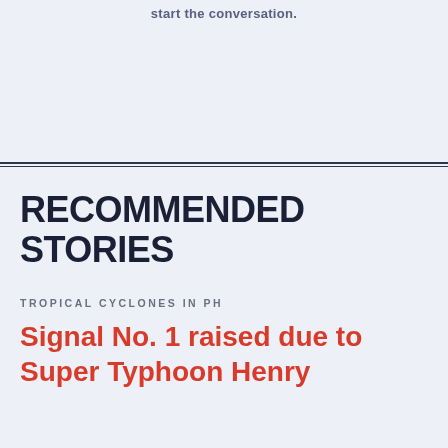start the conversation.
RECOMMENDED STORIES
TROPICAL CYCLONES IN PH
Signal No. 1 raised due to Super Typhoon Henry